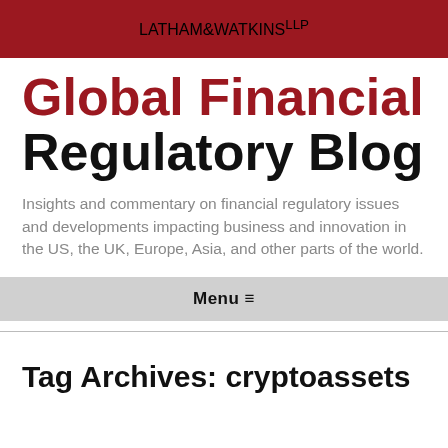LATHAM & WATKINS LLP
Global Financial Regulatory Blog
Insights and commentary on financial regulatory issues and developments impacting business and innovation in the US, the UK, Europe, Asia, and other parts of the world.
Menu ≡
Tag Archives: cryptoassets